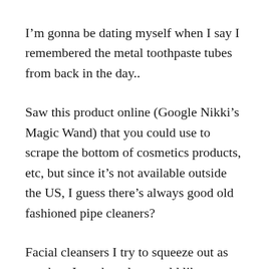I'm gonna be dating myself when I say I remembered the metal toothpaste tubes from back in the day..
Saw this product online (Google Nikki's Magic Wand) that you could use to scrape the bottom of cosmetics products, etc, but since it's not available outside the US, I guess there's always good old fashioned pipe cleaners?
Facial cleansers I try to squeeze out as much as I can but also would like to avoid lopping it off these days because of all the “bring your old cleaners for recycling”...